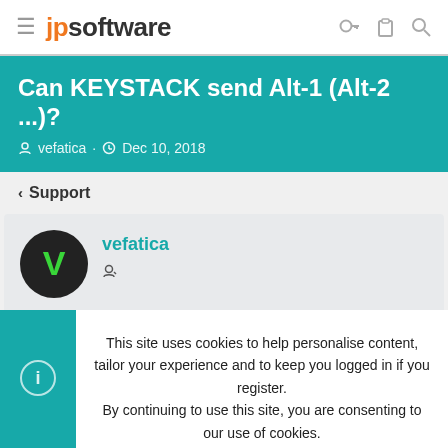jpsoftware
Can KEYSTACK send Alt-1 (Alt-2 ...)?
vefatica · Dec 10, 2018
< Support
vefatica
This site uses cookies to help personalise content, tailor your experience and to keep you logged in if you register. By continuing to use this site, you are consenting to our use of cookies.
Accept
Learn more...